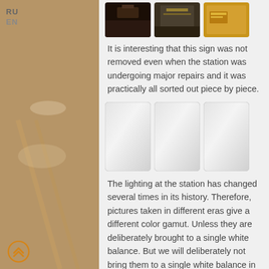[Figure (photo): Three small photos at top: dark interior shot, lit corridor/hall, golden/yellow toned image with text]
It is interesting that this sign was not removed even when the station was undergoing major repairs and it was practically all sorted out piece by piece.
[Figure (photo): Three placeholder/loading image boxes side by side, light gray with rounded corners]
The lighting at the station has changed several times in its history. Therefore, pictures taken in different eras give a different color gamut. Unless they are deliberately brought to a single white balance. But we will deliberately not bring them to a single white balance in order to more clearly show the difference.